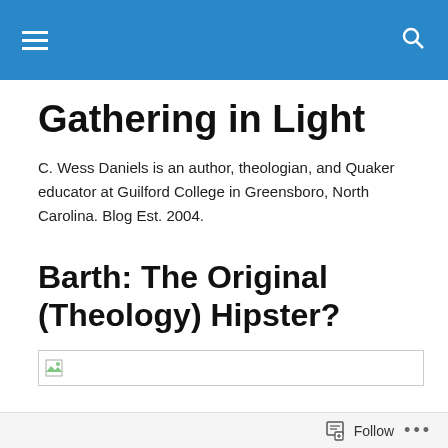Gathering in Light
C. Wess Daniels is an author, theologian, and Quaker educator at Guilford College in Greensboro, North Carolina. Blog Est. 2004.
Barth: The Original (Theology) Hipster?
[Figure (photo): Broken image placeholder]
Follow ...